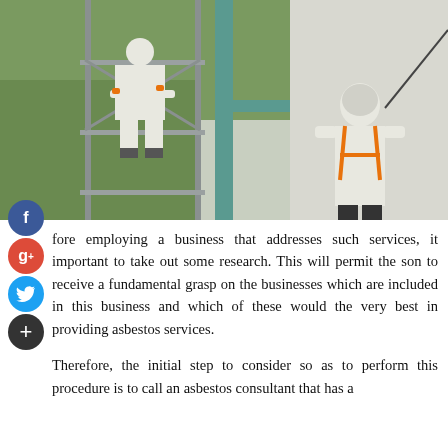[Figure (photo): Two workers in white protective hazmat suits on scaffolding, working on the exterior of a building. One worker is on the scaffolding platform and another is standing on the side holding a tool or rope against the wall.]
fore employing a business that addresses such services, it important to take out some research. This will permit the son to receive a fundamental grasp on the businesses which are included in this business and which of these would the very best in providing asbestos services.

Therefore, the initial step to consider so as to perform this procedure is to call an asbestos consultant that has a